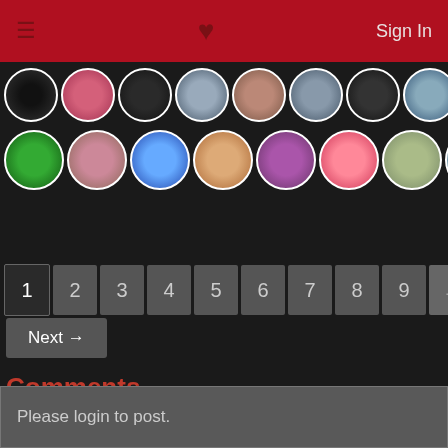Sign In
[Figure (photo): Two rows of circular user avatar/profile photos on a dark background]
1  2  3  4  5  6  7  8  9  ...  43  44
Next →
Comments
Please login to post.